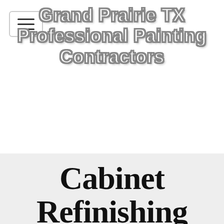[Figure (screenshot): Navigation hamburger menu button with three horizontal lines inside a rounded rectangle border]
Grand Prairie TX Professional Painting Contractors
Cabinet Refinishing